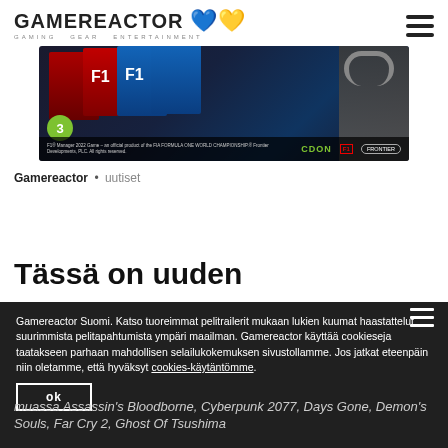GAMEREACTOR GAMING GEAR ENTERTAINMENT
[Figure (photo): F1 Manager 2022 game advertisement banner showing game boxes and a person wearing headphones, with CDON, F1, and Frontier logos]
Gamereactor • uutiset
Tässä on uuden
Gamereactor Suomi. Katso tuoreimmat pelitrailerit mukaan lukien kuumat haastattelut suurimmista pelitapahtumista ympäri maailman. Gamereactor käyttää cookieseja taatakseen parhaan mahdollisen selailukokemuksen sivustollamme. Jos jatkat eteenpäin niin oletamme, että hyväksyt cookies-käytäntömme.
ok
muassa Assassin's Bloodborne, Cyberpunk 2077, Days Gone, Demon's Souls, Far Cry 2, Ghost Of Tsushima